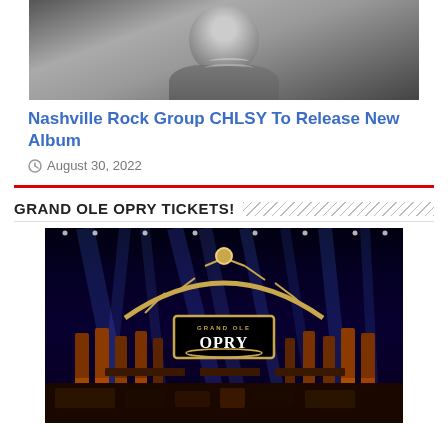[Figure (photo): Grayscale photo of a person wearing a jacket and necklace, cropped at top of page]
Nashville Rock Group CHLSY To Release New Album
August 30, 2022
GRAND OLE OPRY TICKETS!
[Figure (photo): Photo of the Grand Ole Opry stage with blue stage lighting, gold truss arch, and illuminated OPRY sign]